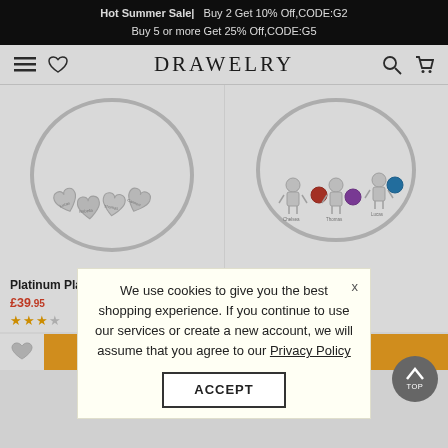Hot Summer Sale| Buy 2 Get 10% Off,CODE:G2 Buy 5 or more Get 25% Off,CODE:G5
[Figure (logo): DRAWELRY brand logo with hamburger menu, heart, search and cart icons]
[Figure (photo): Two silver bangle bracelets side by side on white background. Left bracelet has heart-shaped charms with engraved names: Lucas, Isabella, Thomas, Cannon. Right bracelet has child-shaped charms and colored gemstones (red, purple, blue) with names: Chelsea, Thomas, Lucas.]
Platinum Plated Silver
Platinum Plated Silver
£39.95
£45.95  £61.00
3Reviews
We use cookies to give you the best shopping experience. If you continue to use our services or create a new account, we will assume that you agree to our Privacy Policy
ACCEPT